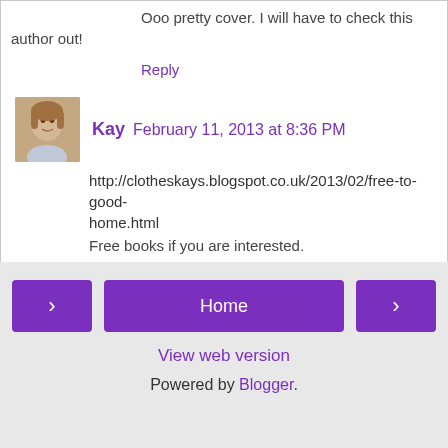Ooo pretty cover. I will have to check this author out!
Reply
Kay  February 11, 2013 at 8:36 PM
http://clotheskays.blogspot.co.uk/2013/02/free-to-good-home.html
Free books if you are interested.
Reply
Enter Comment
Home  View web version  Powered by Blogger.